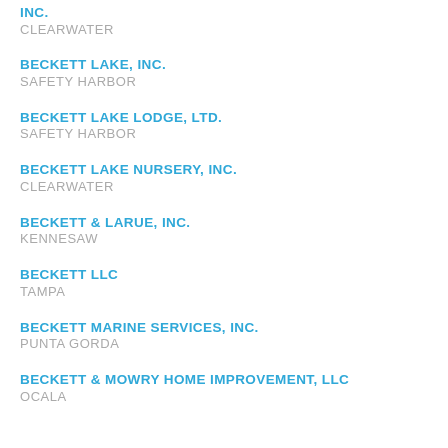INC.
CLEARWATER
BECKETT LAKE, INC.
SAFETY HARBOR
BECKETT LAKE LODGE, LTD.
SAFETY HARBOR
BECKETT LAKE NURSERY, INC.
CLEARWATER
BECKETT & LARUE, INC.
KENNESAW
BECKETT LLC
TAMPA
BECKETT MARINE SERVICES, INC.
PUNTA GORDA
BECKETT & MOWRY HOME IMPROVEMENT, LLC
OCALA